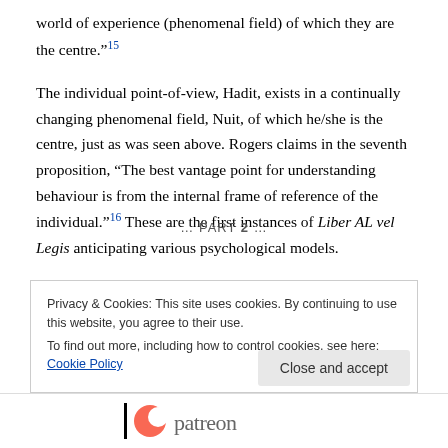world of experience (phenomenal field) of which they are the centre."15
The individual point-of-view, Hadit, exists in a continually changing phenomenal field, Nuit, of which he/she is the centre, just as was seen above. Rogers claims in the seventh proposition, “The best vantage point for understanding behaviour is from the internal frame of reference of the individual.”16 These are the first instances of Liber AL vel Legis anticipating various psychological models.
... PART 2...
Privacy & Cookies: This site uses cookies. By continuing to use this website, you agree to their use.
To find out more, including how to control cookies, see here: Cookie Policy
Close and accept
[Figure (logo): Patreon logo with orange circular icon and text 'patreon']